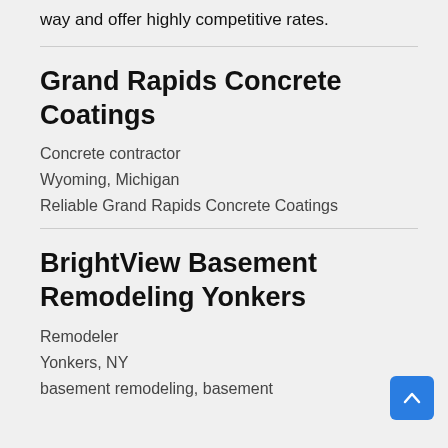way and offer highly competitive rates.
Grand Rapids Concrete Coatings
Concrete contractor
Wyoming, Michigan
Reliable Grand Rapids Concrete Coatings
BrightView Basement Remodeling Yonkers
Remodeler
Yonkers, NY
basement remodeling, basement